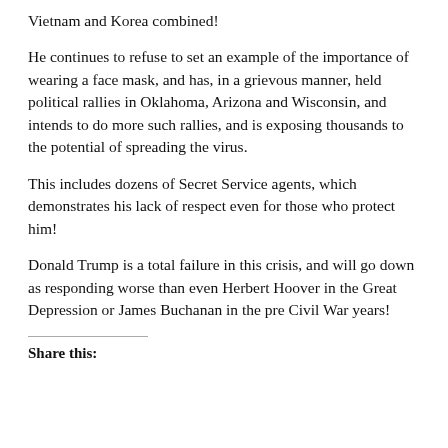Vietnam and Korea combined!
He continues to refuse to set an example of the importance of wearing a face mask, and has, in a grievous manner, held political rallies in Oklahoma, Arizona and Wisconsin, and intends to do more such rallies, and is exposing thousands to the potential of spreading the virus.
This includes dozens of Secret Service agents, which demonstrates his lack of respect even for those who protect him!
Donald Trump is a total failure in this crisis, and will go down as responding worse than even Herbert Hoover in the Great Depression or James Buchanan in the pre Civil War years!
Share this: